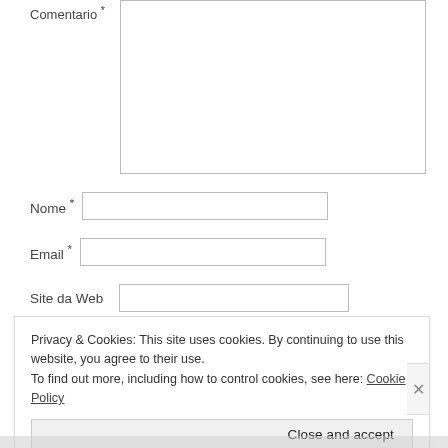Comentario *
Nome *
Email *
Site da Web
Privacy & Cookies: This site uses cookies. By continuing to use this website, you agree to their use.
To find out more, including how to control cookies, see here: Cookie Policy
Close and accept